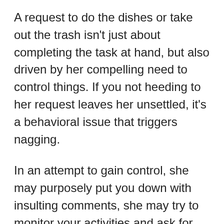A request to do the dishes or take out the trash isn't just about completing the task at hand, but also driven by her compelling need to control things. If you not heeding to her request leaves her unsettled, it's a behavioral issue that triggers nagging.
In an attempt to gain control, she may purposely put you down with insulting comments, she may try to monitor your activities and ask for your whereabouts every second of the day. No, when she asks you to pass the remote even though it's closer to her isn't really asserting control. A contentious woman will play mind games with you to put